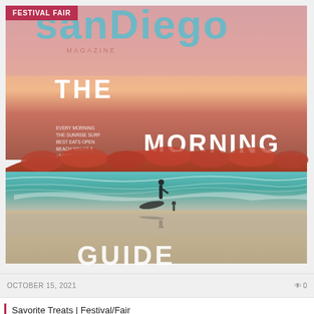[Figure (photo): Magazine cover of San Diego Magazine showing a beach scene at sunset/sunrise with a surfer silhouetted on the shoreline, warm pink and orange sky, teal ocean waves, city skyline in background. White bold text reads 'THE MORNING' and 'GUIDE' (partially visible). Red banner label 'FESTIVAL FAIR' in upper left corner.]
OCTOBER 15, 2021   0
Savorite Treats | Festival/Fair